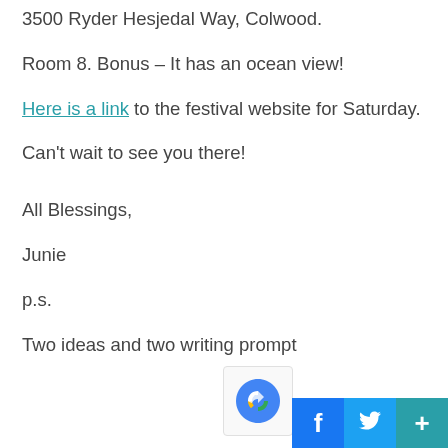3500 Ryder Hesjedal Way, Colwood.
Room 8. Bonus – It has an ocean view!
Here is a link to the festival website for Saturday.
Can't wait to see you there!
All Blessings,
Junie
p.s.
Two ideas and two writing prompt